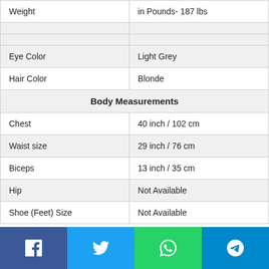| Attribute | Value |
| --- | --- |
| Weight | in Pounds- 187 lbs |
|  |  |
|  |  |
| Eye Color | Light Grey |
| Hair Color | Blonde |
| Body Measurements |  |
| Chest | 40 inch / 102 cm |
| Waist size | 29 inch / 76 cm |
| Biceps | 13 inch / 35 cm |
| Hip | Not Available |
| Shoe (Feet) Size | Not Available |